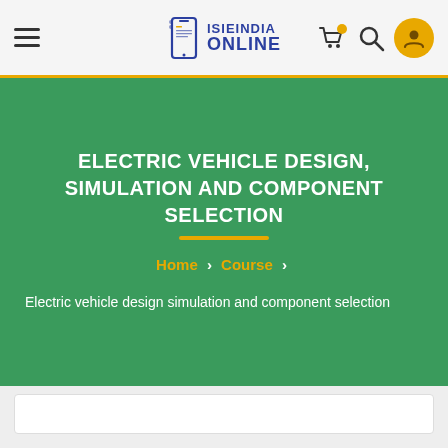[Figure (logo): ISIEINDIA ONLINE logo with mobile phone icon and navigation bar including hamburger menu, cart, search, and user profile icons]
ELECTRIC VEHICLE DESIGN, SIMULATION AND COMPONENT SELECTION
Home > Course >
Electric vehicle design simulation and component selection